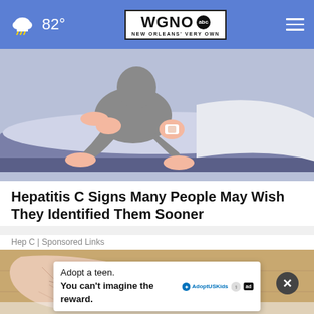WGNO abc — NEW ORLEANS' VERY OWN | 82°
[Figure (illustration): Illustration of a person sitting on a bed scratching their leg, depicting a health condition scene]
Hepatitis C Signs Many People May Wish They Identified Them Sooner
Hep C | Sponsored Links
[Figure (photo): Close-up photo of a dry, cracked heel/foot on a wooden floor]
Adopt a teen. You can't imagine the reward. — AdoptUSKids [ad]